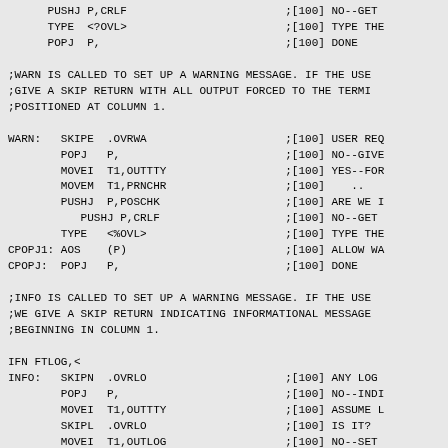PUSHJ P,CRLF                        ;[100] NO--GET 
      TYPE  <?OVL>                        ;[100] TYPE THE
      POPJ  P,                            ;[100] DONE
;WARN IS CALLED TO SET UP A WARNING MESSAGE. IF THE USE
;GIVE A SKIP RETURN WITH ALL OUTPUT FORCED TO THE TERMI
;POSITIONED AT COLUMN 1.
WARN:   SKIPE  .OVRWA                     ;[100] USER REQ
        POPJ   P,                         ;[100] NO--GIVE
        MOVEI  T1,OUTTTY                  ;[100] YES--FOR
        MOVEM  T1,PRNCHR                  ;[100] ..
        PUSHJ  P,POSCHK                   ;[100] ARE WE I
           PUSHJ P,CRLF                   ;[100] NO--GET 
        TYPE   <%OVL>                     ;[100] TYPE THE
CPOPJ1: AOS    (P)                        ;[100] ALLOW WA
CPOPJ:  POPJ   P,                         ;[100] DONE
;INFO IS CALLED TO SET UP A WARNING MESSAGE. IF THE USE
;WE GIVE A SKIP RETURN INDICATING INFORMATIONAL MESSAGE
;BEGINNING IN COLUMN 1.
IFN FTLOG,<
INFO:   SKIPN  .OVRLO                     ;[100] ANY LOG 
        POPJ   P,                         ;[100] NO--INDI
        MOVEI  T1,OUTTTY                  ;[100] ASSUME L
        SKIPL  .OVRLO                     ;[100] IS IT?
        MOVEI  T1,OUTLOG                  ;[100] NO--SET